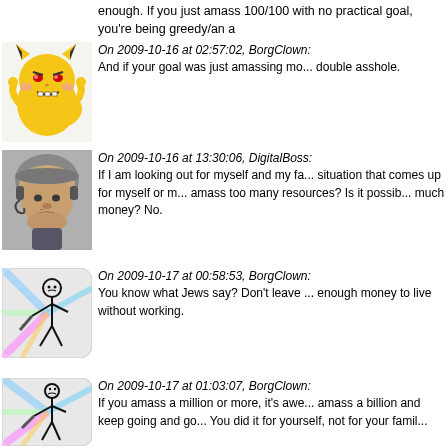enough. If you just amass 100/100 with no practical goal, you're being greedy/an a
[Figure (illustration): Angry Pikachu meme avatar with red eyes]
On 2009-10-16 at 02:57:02, BorgClown: And if your goal was just amassing mo... double asshole.
[Figure (photo): Photo of a man wearing a helmet, scowling]
On 2009-10-16 at 13:30:06, DigitalBoss: If I am looking out for myself and my fa... situation that comes up for myself or m... amass too many resources? Is it possib... much money? No.
[Figure (illustration): Stick figure with colorful rays background]
On 2009-10-17 at 00:58:53, BorgClown: You know what Jews say? Don't leave ... enough money to live without working.
[Figure (illustration): Stick figure with colorful rays background]
On 2009-10-17 at 01:03:07, BorgClown: If you amass a million or more, it's awe... amass a billion and keep going and go... You did it for yourself, not for your famil...